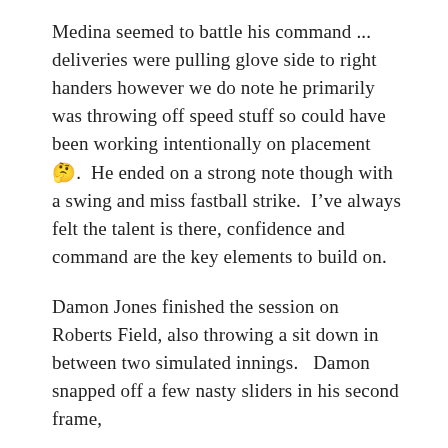Medina seemed to battle his command ... deliveries were pulling glove side to right handers however we do note he primarily was throwing off speed stuff so could have been working intentionally on placement 🤔.  He ended on a strong note though with a swing and miss fastball strike.  I've always felt the talent is there, confidence and command are the key elements to build on.
Damon Jones finished the session on Roberts Field, also throwing a sit down in between two simulated innings.   Damon snapped off a few nasty sliders in his second frame,